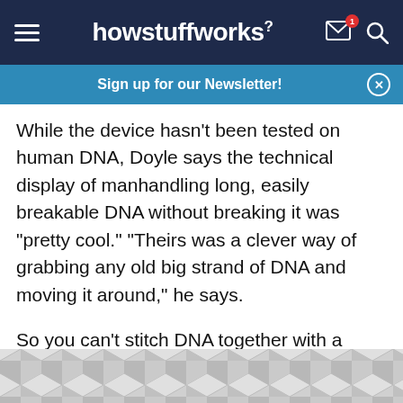howstuffworks
Sign up for our Newsletter!
While the device hasn't been tested on human DNA, Doyle says the technical display of manhandling long, easily breakable DNA without breaking it was "pretty cool." "Theirs was a clever way of grabbing any old big strand of DNA and moving it around," he says.
So you can't stitch DNA together with a conventional sewing machine, but scientists can manipulate DNA for our benefit. Keep reading to see what else
[Figure (other): Advertisement placeholder with geometric hexagonal pattern in gray tones]